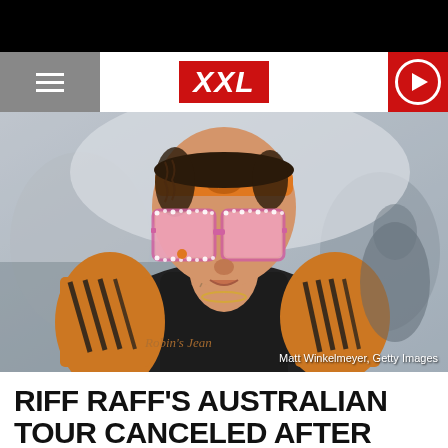XXL
[Figure (photo): Riff Raff wearing large pink rhinestone sunglasses, an orange headband, and a black jacket with tiger-stripe sleeves that reads 'Robin's Jean', photographed by Matt Winkelmeyer, Getty Images]
Matt Winkelmeyer, Getty Images
RIFF RAFF'S AUSTRALIAN TOUR CANCELED AFTER RAPE